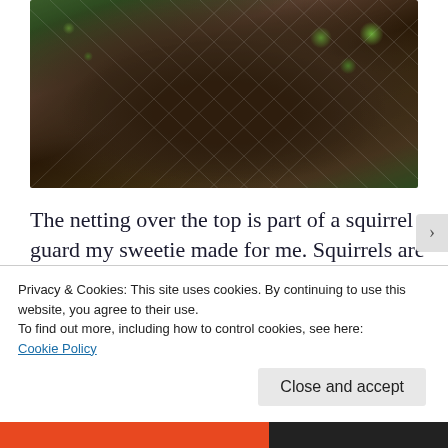[Figure (photo): A round planter/container pot filled with dark soil and small green seedlings/plants visible at top. A grey netting (squirrel guard) is draped over the top of the pot. The background shows green garden plants.]
The netting over the top is part of a squirrel guard my sweetie made for me. Squirrels are a huge problem in my yard. I can’t tell you how many times I’ve had to replant because of those little buggers! So, my ever creative husband built those “squirrel guards” out of PVC pipe
Privacy & Cookies: This site uses cookies. By continuing to use this website, you agree to their use.
To find out more, including how to control cookies, see here:
Cookie Policy
Close and accept